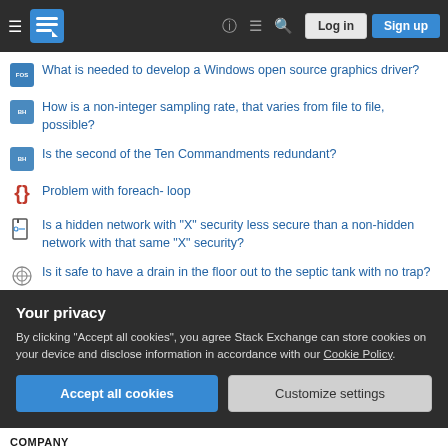Stack Exchange — Log in / Sign up
What is needed to develop a Windows open source graphics driver?
How is a non-integer sampling rate, that varies from file to file, possible?
Is the second of the Ten Commandments redundant?
Problem with foreach- loop
Is a hidden network with "X" security less secure than a non-hidden network with that same "X" security?
Is it safe to have a drain in the floor out to the septic tank with no trap?
What's the right way to rescaling (min-max normalization)?
Why do the manufacturers using an operating system have to pay patent royalties based on the operating system?
Your privacy
By clicking "Accept all cookies", you agree Stack Exchange can store cookies on your device and disclose information in accordance with our Cookie Policy.
Accept all cookies   Customize settings
COMPANY